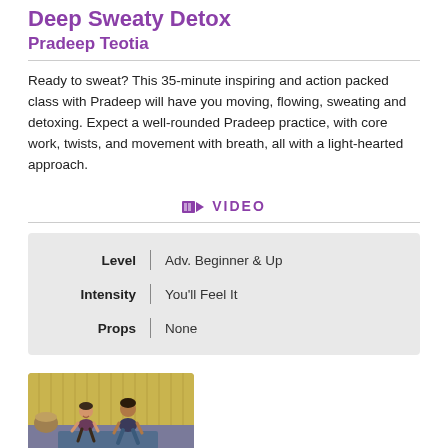Deep Sweaty Detox Pradeep Teotia
Ready to sweat? This 35-minute inspiring and action packed class with Pradeep will have you moving, flowing, sweating and detoxing. Expect a well-rounded Pradeep practice, with core work, twists, and movement with breath, all with a light-hearted approach.
VIDEO
| Label | Value |
| --- | --- |
| Level | Adv. Beginner & Up |
| Intensity | You'll Feel It |
| Props | None |
[Figure (photo): Two people in yoga/squat pose on a mat in a studio setting]